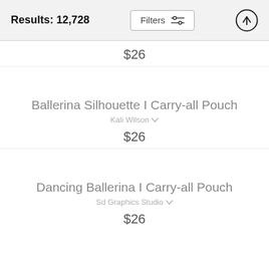Results: 12,728
$26
Ballerina Silhouette I Carry-all Pouch
Kali Wilson
$26
Dancing Ballerina I Carry-all Pouch
Sd Graphics Studio
$26